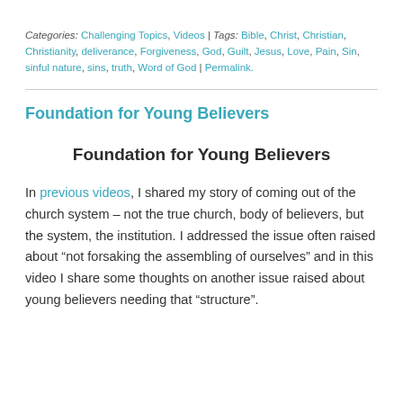Categories: Challenging Topics, Videos | Tags: Bible, Christ, Christian, Christianity, deliverance, Forgiveness, God, Guilt, Jesus, Love, Pain, Sin, sinful nature, sins, truth, Word of God | Permalink.
Foundation for Young Believers
[Figure (other): Video embed placeholder showing title 'Foundation for Young Believers']
In previous videos, I shared my story of coming out of the church system – not the true church, body of believers, but the system, the institution. I addressed the issue often raised about “not forsaking the assembling of ourselves” and in this video I share some thoughts on another issue raised about young believers needing that “structure”.